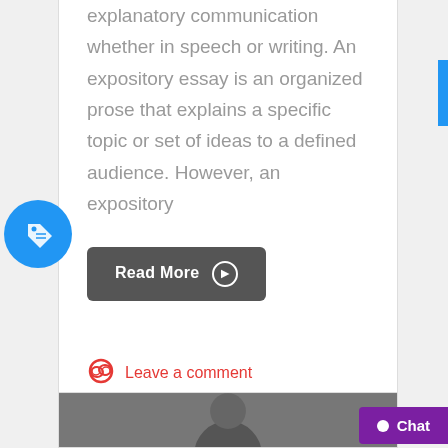explanatory communication whether in speech or writing. An expository essay is an organized prose that explains a specific topic or set of ideas to a defined audience. However, an expository
[Figure (illustration): Blue circle with white price tag / label icon]
[Figure (other): Dark gray 'Read More' button with right arrow circle]
Leave a comment
over 4 years ago
[Figure (photo): Partial photo of a person at bottom of page]
[Figure (other): Purple Chat button in bottom right corner]